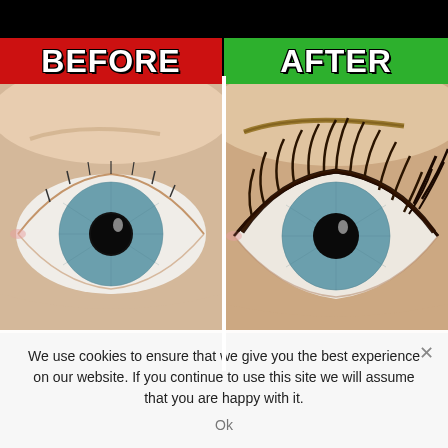[Figure (infographic): Before and after comparison of an eye with eyelash extensions. Left panel (red header 'BEFORE') shows a close-up of a blue-green eye with minimal natural lashes. Right panel (green header 'AFTER') shows the same eye with dramatic full dark eyelash extensions.]
We use cookies to ensure that we give you the best experience on our website. If you continue to use this site we will assume that you are happy with it.
Ok